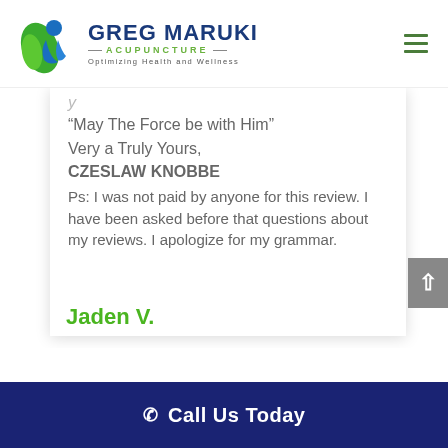[Figure (logo): Greg Maruki Acupuncture logo with green leaf and blue figure icon, text reading GREG MARUKI ACUPUNCTURE Optimizing Health and Wellness]
“May The Force be with Him”
Very a Truly Yours,
CZESLAW KNOBBE
Ps: I was not paid by anyone for this review. I have been asked before that questions about my reviews. I apologize for my grammar.
Jaden V.
Call Us Today